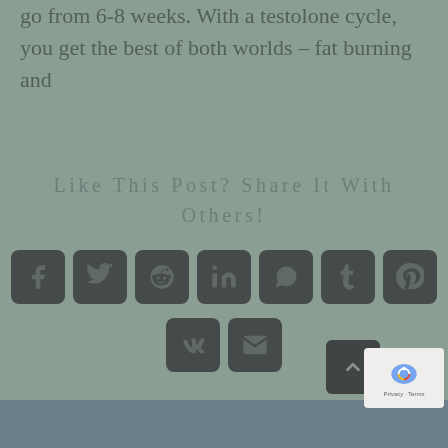go from 6-8 weeks. With a testolone cycle, you get the best of both worlds – fat burning and
Like This Post? Share It With Others!
[Figure (infographic): Social media share buttons: Facebook, Twitter, Reddit, LinkedIn, WhatsApp, Tumblr, Pinterest, VK, Email]
[Figure (other): Back to top button and reCAPTCHA widget]